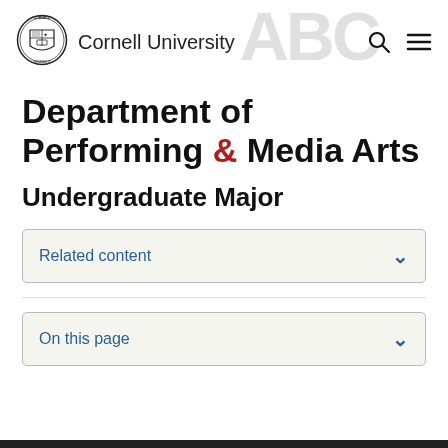[Figure (logo): Cornell University seal/crest logo with shield and book motif, circular border]
Cornell University
Department of Performing & Media Arts
Undergraduate Major
Related content
On this page